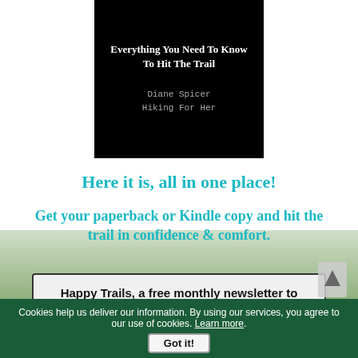[Figure (illustration): Book cover on black background. Title reads 'Everything You Need To Know To Hit The Trail'. Author: Diane Spicer, Hiking For Her.]
Here it is, all in one place!
Get your paperback or Kindle copy and hit the trail in confidence & comfort.
Happy Trails, a free monthly newsletter to keep you informed about hiking news & resources
Cookies help us deliver our information. By using our services, you agree to our use of cookies. Learn more. Got it!